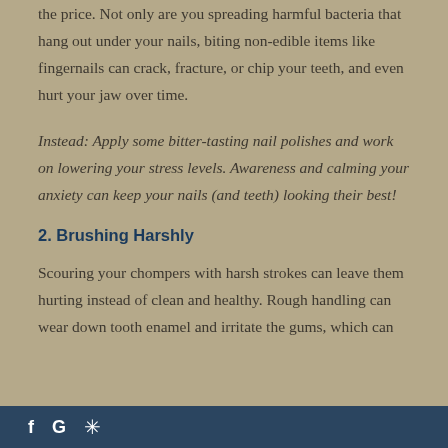the price. Not only are you spreading harmful bacteria that hang out under your nails, biting non-edible items like fingernails can crack, fracture, or chip your teeth, and even hurt your jaw over time.
Instead: Apply some bitter-tasting nail polishes and work on lowering your stress levels. Awareness and calming your anxiety can keep your nails (and teeth) looking their best!
2. Brushing Harshly
Scouring your chompers with harsh strokes can leave them hurting instead of clean and healthy. Rough handling can wear down tooth enamel and irritate the gums, which can
f G *